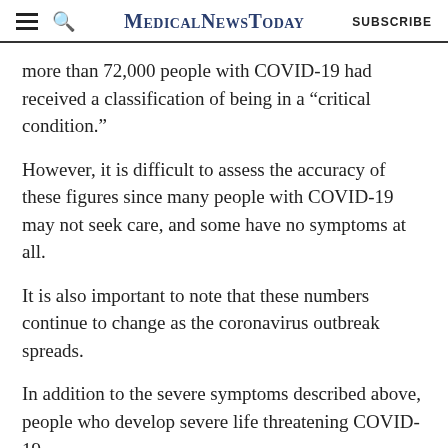MedicalNewsToday  SUBSCRIBE
more than 72,000 people with COVID-19 had received a classification of being in a “critical condition.”
However, it is difficult to assess the accuracy of these figures since many people with COVID-19 may not seek care, and some have no symptoms at all.
It is also important to note that these numbers continue to change as the coronavirus outbreak spreads.
In addition to the severe symptoms described above, people who develop severe life threatening COVID-19
ADVERTISEMENT
[Figure (infographic): MNT newsletter advertisement banner with text: Get the MNT newsletter. Subscribe to receive our top news articles. SUBSCRIBE button.]